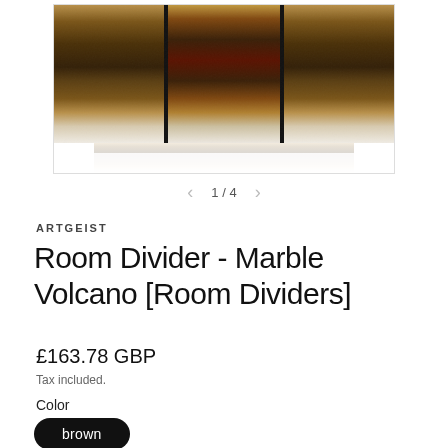[Figure (photo): A folding room divider/screen with a dark brown marble volcano pattern printed on three panels, shown against a white background with a faint reflection below.]
1 / 4
ARTGEIST
Room Divider - Marble Volcano [Room Dividers]
£163.78 GBP
Tax included.
Color
brown